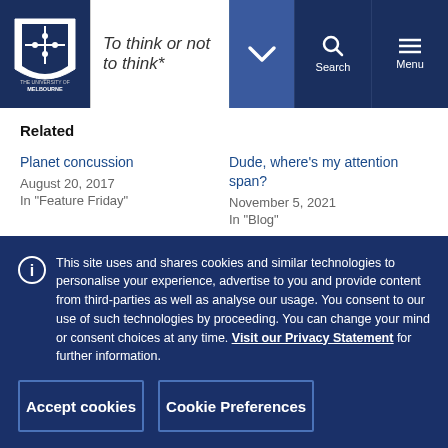To think or not to think* — University of Melbourne
Related
Planet concussion
August 20, 2017
In "Feature Friday"
Dude, where's my attention span?
November 5, 2021
In "Blog"
This site uses and shares cookies and similar technologies to personalise your experience, advertise to you and provide content from third-parties as well as analyse our usage. You consent to our use of such technologies by proceeding. You can change your mind or consent choices at any time. Visit our Privacy Statement for further information.
Accept cookies
Cookie Preferences